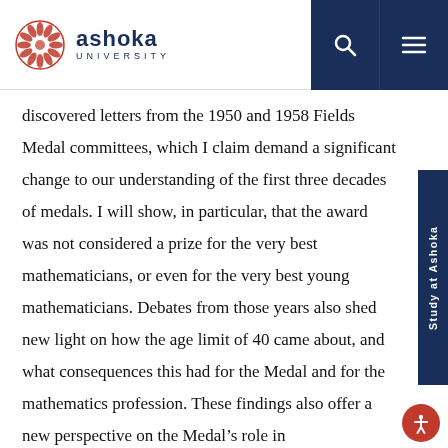Ashoka University
discovered letters from the 1950 and 1958 Fields Medal committees, which I claim demand a significant change to our understanding of the first three decades of medals. I will show, in particular, that the award was not considered a prize for the very best mathematicians, or even for the very best young mathematicians. Debates from those years also shed new light on how the age limit of 40 came about, and what consequences this had for the Medal and for the mathematics profession. These findings also offer a new perspective on the Medal's role in mathematicians' international relations in this period. I argue that 1966 was the turning point that set the course for the Fields Medal's